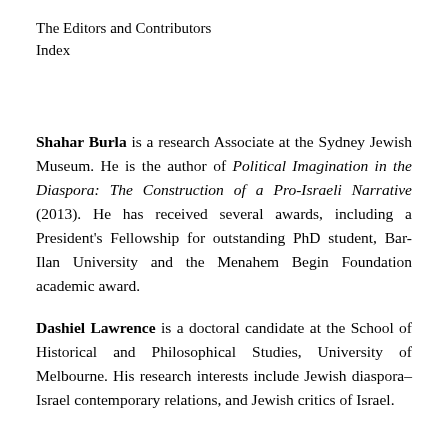The Editors and Contributors
Index
Shahar Burla is a research Associate at the Sydney Jewish Museum. He is the author of Political Imagination in the Diaspora: The Construction of a Pro-Israeli Narrative (2013). He has received several awards, including a President's Fellowship for outstanding PhD student, Bar-Ilan University and the Menahem Begin Foundation academic award.
Dashiel Lawrence is a doctoral candidate at the School of Historical and Philosophical Studies, University of Melbourne. His research interests include Jewish diaspora–Israel contemporary relations, and Jewish critics of Israel.